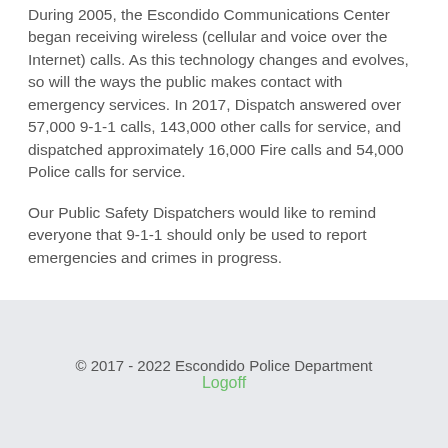During 2005, the Escondido Communications Center began receiving wireless (cellular and voice over the Internet) calls. As this technology changes and evolves, so will the ways the public makes contact with emergency services. In 2017, Dispatch answered over 57,000 9-1-1 calls, 143,000 other calls for service, and dispatched approximately 16,000 Fire calls and 54,000 Police calls for service.
Our Public Safety Dispatchers would like to remind everyone that 9-1-1 should only be used to report emergencies and crimes in progress.
© 2017 - 2022 Escondido Police Department
Logoff